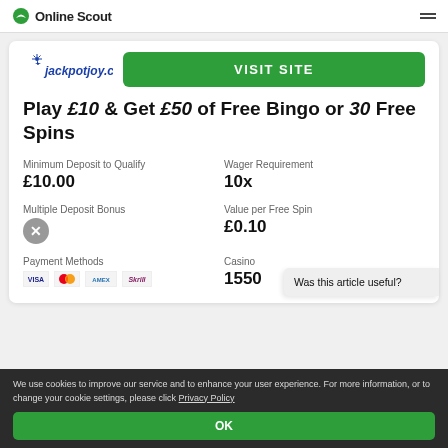Online Scout
[Figure (logo): Jackpotjoy.com logo with blue star icon and italic blue text]
VISIT SITE
Play £10 & Get £50 of Free Bingo or 30 Free Spins
Minimum Deposit to Qualify
£10.00
Wager Requirement
10x
Multiple Deposit Bonus
Value per Free Spin
£0.10
Payment Methods
[Figure (logo): Payment method logos: VISA, Mastercard, American Express, Skrill]
Casino
1550
Was this article useful?
We use cookies to improve our service and to enhance your user experience. For more information, or to change your cookie settings, please click Privacy Policy
OK